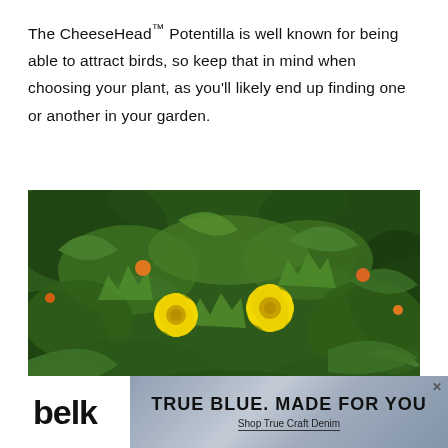The CheeseHead™ Potentilla is well known for being able to attract birds, so keep that in mind when choosing your plant, as you'll likely end up finding one or another in your garden.
[Figure (photo): Close-up photograph of yellow Potentilla flowers (two prominent round yellow blooms) surrounded by green leafy foliage, with additional small orange/yellow buds visible in the background.]
[Figure (other): Advertisement banner for Belk department store. Left side shows 'belk' logo in bold black text on white background. Right side shows denim fabric background with text 'TRUE BLUE. MADE FOR YOU' and subtext 'Shop True Craft Denim'. Close button (x) in upper right corner.]